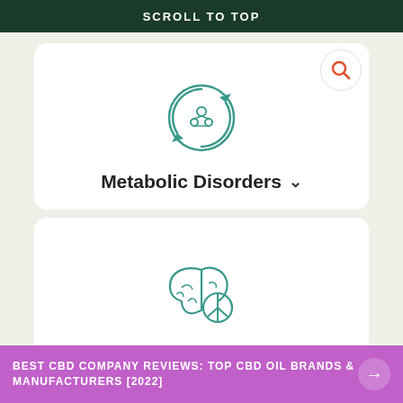SCROLL TO TOP
[Figure (illustration): Icon of a metabolic cycle with circular arrows and molecules]
Metabolic Disorders ▾
[Figure (illustration): Icon of a brain with a peace/CBD symbol overlay]
Psychological Disorders ▾
[Figure (illustration): Partial icon showing a joint or bone structure]
BEST CBD COMPANY REVIEWS: TOP CBD OIL BRANDS & MANUFACTURERS [2022]